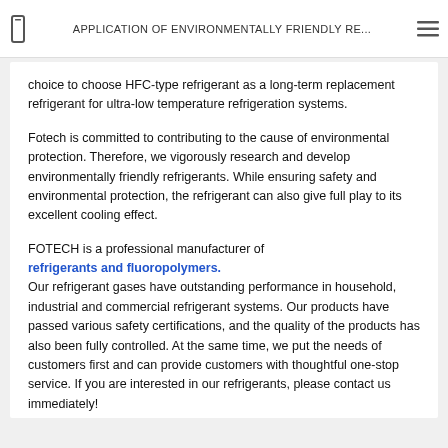APPLICATION OF ENVIRONMENTALLY FRIENDLY RE...
choice to choose HFC-type refrigerant as a long-term replacement refrigerant for ultra-low temperature refrigeration systems.
Fotech is committed to contributing to the cause of environmental protection. Therefore, we vigorously research and develop environmentally friendly refrigerants. While ensuring safety and environmental protection, the refrigerant can also give full play to its excellent cooling effect.
FOTECH is a professional manufacturer of refrigerants and fluoropolymers. Our refrigerant gases have outstanding performance in household, industrial and commercial refrigerant systems. Our products have passed various safety certifications, and the quality of the products has also been fully controlled. At the same time, we put the needs of customers first and can provide customers with thoughtful one-stop service. If you are interested in our refrigerants, please contact us immediately!